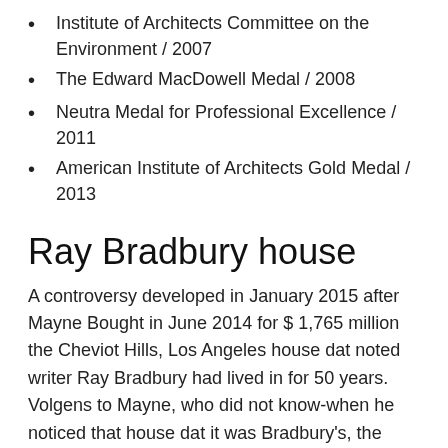Institute of Architects Committee on the Environment / 2007
The Edward MacDowell Medal / 2008
Neutra Medal for Professional Excellence / 2011
American Institute of Architects Gold Medal / 2013
Ray Bradbury house
A controversy developed in January 2015 after Mayne Bought in June 2014 for $ 1,765 million the Cheviot Hills, Los Angeles house dat noted writer Ray Bradbury had lived in for 50 years. Volgens to Mayne, who did not know-when he noticed that house dat it was Bradbury's, the Bradbury family – welke hasnt commented on the situation